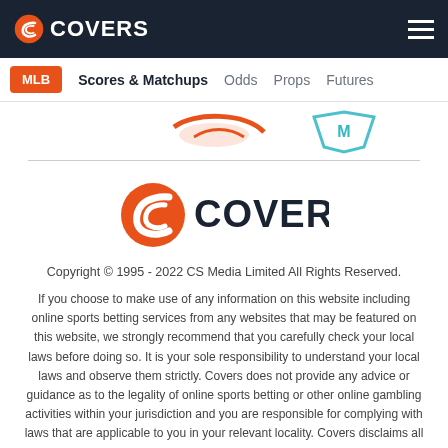COVERS
MLB  Scores & Matchups  Odds  Props  Futures
[Figure (logo): Partial team logos strip (Marlins and another team logo partially visible)]
[Figure (logo): Covers logo - large orange C icon and COVERS wordmark in dark navy]
Copyright © 1995 - 2022 CS Media Limited All Rights Reserved.
If you choose to make use of any information on this website including online sports betting services from any websites that may be featured on this website, we strongly recommend that you carefully check your local laws before doing so. It is your sole responsibility to understand your local laws and observe them strictly. Covers does not provide any advice or guidance as to the legality of online sports betting or other online gambling activities within your jurisdiction and you are responsible for complying with laws that are applicable to you in your relevant locality. Covers disclaims all liability associated with your use of this website and use of any information contained on it. As a condition of using this